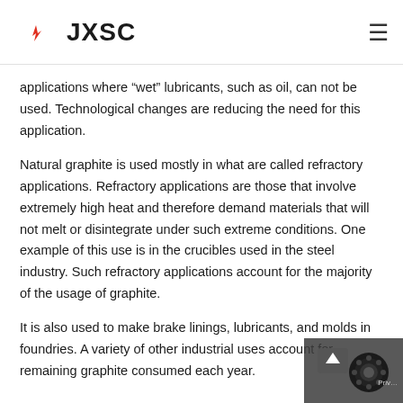JXSC
applications where “wet” lubricants, such as oil, can not be used. Technological changes are reducing the need for this application.
Natural graphite is used mostly in what are called refractory applications. Refractory applications are those that involve extremely high heat and therefore demand materials that will not melt or disintegrate under such extreme conditions. One example of this use is in the crucibles used in the steel industry. Such refractory applications account for the majority of the usage of graphite.
It is also used to make brake linings, lubricants, and molds in foundries. A variety of other industrial uses account for remaining graphite consumed each year.